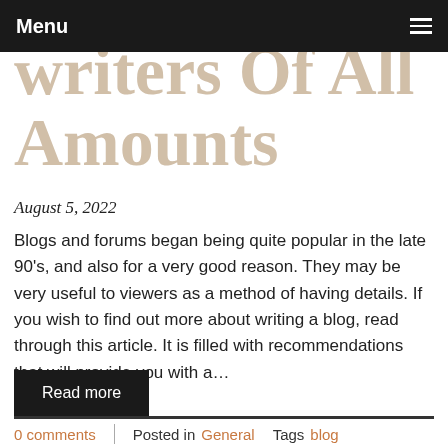Menu
writers Of All Amounts
August 5, 2022
Blogs and forums began being quite popular in the late 90's, and also for a very good reason. They may be very useful to viewers as a method of having details. If you wish to find out more about writing a blog, read through this article. It is filled with recommendations that will provide you with a…
Read more
0 comments | Posted in General Tags blog